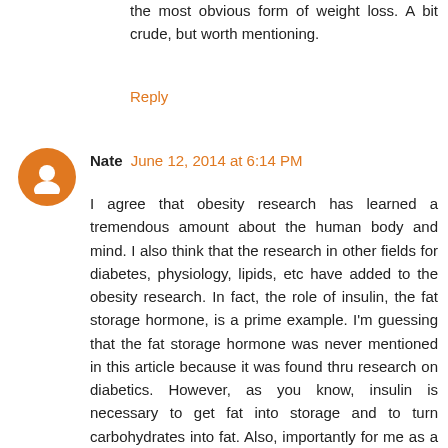the most obvious form of weight loss. A bit crude, but worth mentioning.
Reply
Nate  June 12, 2014 at 6:14 PM
I agree that obesity research has learned a tremendous amount about the human body and mind. I also think that the research in other fields for diabetes, physiology, lipids, etc have added to the obesity research. In fact, the role of insulin, the fat storage hormone, is a prime example. I'm guessing that the fat storage hormone was never mentioned in this article because it was found thru research on diabetics. However, as you know, insulin is necessary to get fat into storage and to turn carbohydrates into fat. Also, importantly for me as a Type 1 diabetic, the extreme hunger caused by too much insulin in the blood in relation to glucose should also have been discussed. If I eat a meal and accidentally take too much insulin, my hunger can get so great in an hour that I can absolutely only think about food and of course eat it. To control that hunger on a daily basis, and not to lose that control, I am definitely dependent